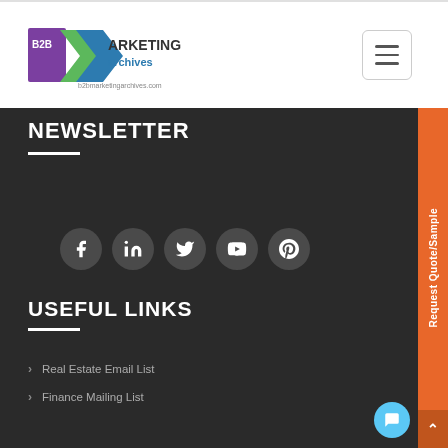[Figure (logo): B2B Marketing Archives logo with purple and green M shape, text 'MARKETING archives b2bmarketingarchives.com']
[Figure (other): Hamburger menu button - three horizontal lines in a rounded rectangle border]
NEWSLETTER
[Figure (other): Social media icons row: Facebook, LinkedIn, Twitter, YouTube, Pinterest - white icons on dark grey circles]
USEFUL LINKS
Real Estate Email List
Finance Mailing List
[Figure (other): Orange vertical side tab with text 'Request Quote/Sample' rotated 90 degrees]